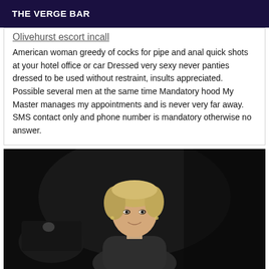THE VERGE BAR
Olivehurst escort incall
American woman greedy of cocks for pipe and anal quick shots at your hotel office or car Dressed very sexy never panties dressed to be used without restraint, insults appreciated. Possible several men at the same time Mandatory hood My Master manages my appointments and is never very far away. SMS contact only and phone number is mandatory otherwise no answer.
[Figure (photo): Dark nighttime photo of a blonde woman smiling, visible from shoulders up, dark background]